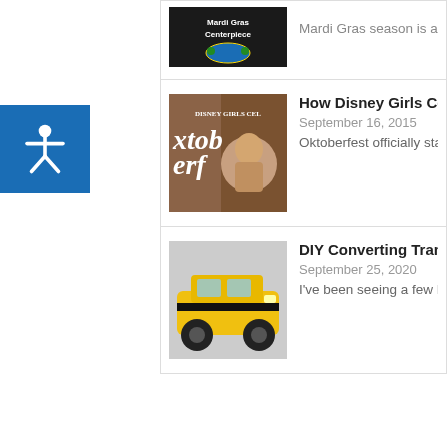[Figure (other): Mardi Gras Centerpiece thumbnail image - dark background with decorative Mardi Gras mask]
Mardi Gras season is almost here and
[Figure (photo): Disney Girls Celebrate Oktoberfest - book/magazine cover thumbnail]
How Disney Girls Celebrate Oktoberfe
September 16, 2015
Oktoberfest officially starts this Satur
[Figure (photo): Yellow Bumblebee Transformers toy car thumbnail]
DIY Converting Transformers Bumbleb
September 25, 2020
I've been seeing a few DIY converting
SUBSCRIBE TO BLOG VIA EMAIL
Enter your email address to subscribe to this blog a
Join 22 other subscribers
Email Address
Subscribe